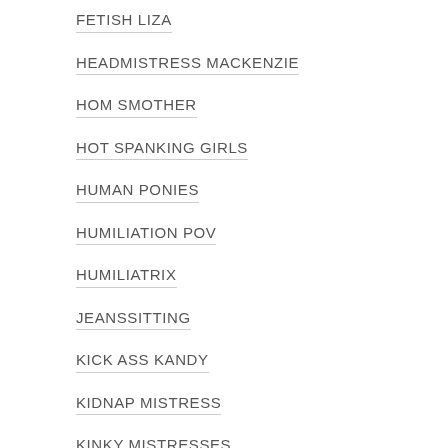FETISH LIZA
HEADMISTRESS MACKENZIE
HOM SMOTHER
HOT SPANKING GIRLS
HUMAN PONIES
HUMILIATION POV
HUMILIATRIX
JEANSSITTING
KICK ASS KANDY
KIDNAP MISTRESS
KINKY MISTRESSES
LADY MEPHISTA
LATIN BEAUTIES IN HIGH HEELS
LETHAL LIPSTICK